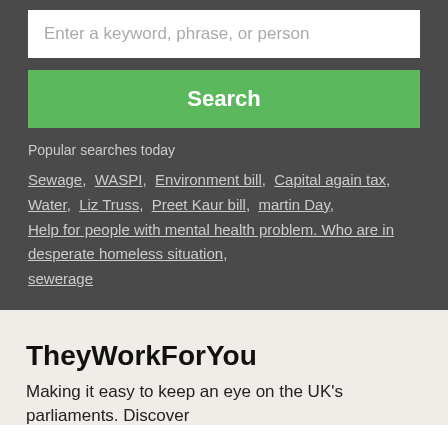Enter a keyword, phrase, or person
Search
Popular searches today
Sewage, WASPI, Environment bill, Capital again tax, Water, Liz Truss, Preet Kaur bill, martin Day, Help for people with mental health problem. Who are in desperate homeless situation, sewerage
TheyWorkForYou
Making it easy to keep an eye on the UK's parliaments. Discover